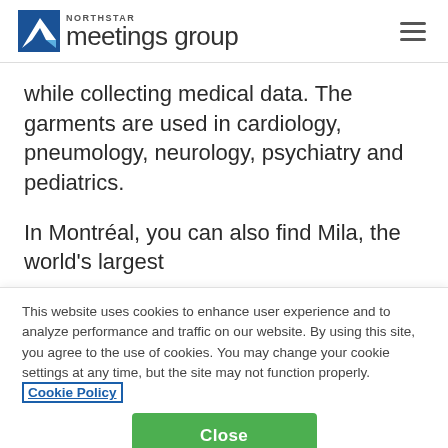NORTHSTAR meetings group
while collecting medical data. The garments are used in cardiology, pneumology, neurology, psychiatry and pediatrics.
In Montréal, you can also find Mila, the world's largest
This website uses cookies to enhance user experience and to analyze performance and traffic on our website. By using this site, you agree to the use of cookies. You may change your cookie settings at any time, but the site may not function properly. Cookie Policy
Close